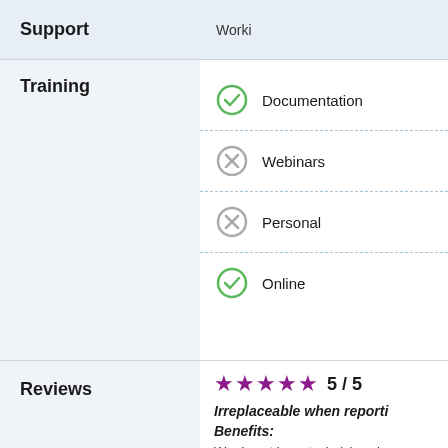Support
Worki
Training
Documentation (checked)
Webinars (not checked)
Personal (not checked)
Online (checked)
Reviews
5 / 5
Irreplaceable when reporti...
Benefits:
We do not have technicians i... handled by external compan... defect by scanning the... Re...